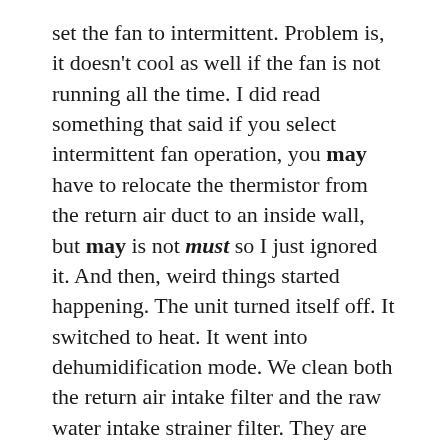set the fan to intermittent. Problem is, it doesn't cool as well if the fan is not running all the time. I did read something that said if you select intermittent fan operation, you may have to relocate the thermistor from the return air duct to an inside wall, but may is not must so I just ignored it. And then, weird things started happening. The unit turned itself off. It switched to heat. It went into dehumidification mode. We clean both the return air intake filter and the raw water intake strainer filter. They are both pretty nasty, but cleaning them doesn't resolve our issues.
Steve calls the company. We have two issues he says. The system doesn't work as well when the